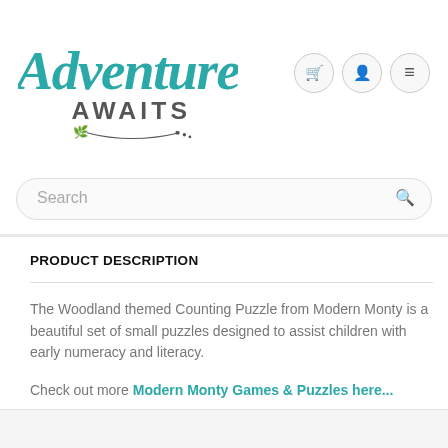[Figure (logo): Adventure Awaits logo in teal script with leaf decoration]
Search
PRODUCT DESCRIPTION
The Woodland themed Counting Puzzle from Modern Monty is a beautiful set of small puzzles designed to assist children with early numeracy and literacy.
Check out more Modern Monty Games & Puzzles here...